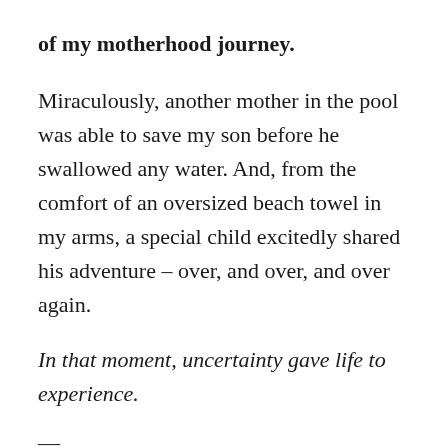of my motherhood journey.
Miraculously, another mother in the pool was able to save my son before he swallowed any water. And, from the comfort of an oversized beach towel in my arms, a special child excitedly shared his adventure – over, and over, and over again.
In that moment, uncertainty gave life to experience.
—
Some days we will be tempted to tell the world about our mothering, and others will leave us wanting to hide behind an obnoxiously large diaper bag. I would argue